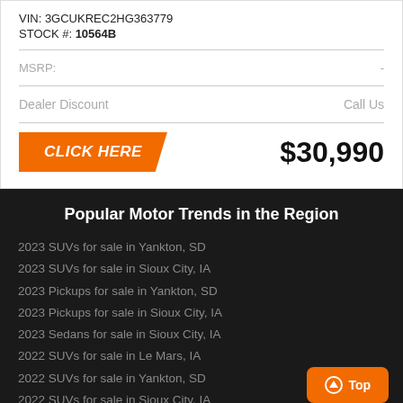VIN: 3GCUKREC2HG363779
STOCK #: 10564B
MSRP: -
Dealer Discount  Call Us
[Figure (other): Orange parallelogram button with white bold italic text CLICK HERE]
$30,990
Popular Motor Trends in the Region
2023 SUVs for sale in Yankton, SD
2023 SUVs for sale in Sioux City, IA
2023 Pickups for sale in Yankton, SD
2023 Pickups for sale in Sioux City, IA
2023 Sedans for sale in Sioux City, IA
2022 SUVs for sale in Le Mars, IA
2022 SUVs for sale in Yankton, SD
2022 SUVs for sale in Sioux City, IA
2022 Pickups for sale in Hartington, NE